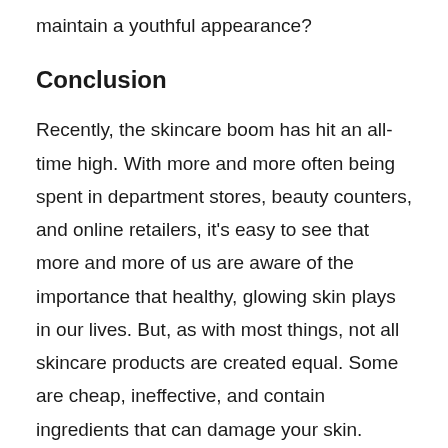maintain a youthful appearance?
Conclusion
Recently, the skincare boom has hit an all-time high. With more and more often being spent in department stores, beauty counters, and online retailers, it's easy to see that more and more of us are aware of the importance that healthy, glowing skin plays in our lives. But, as with most things, not all skincare products are created equal. Some are cheap, ineffective, and contain ingredients that can damage your skin.